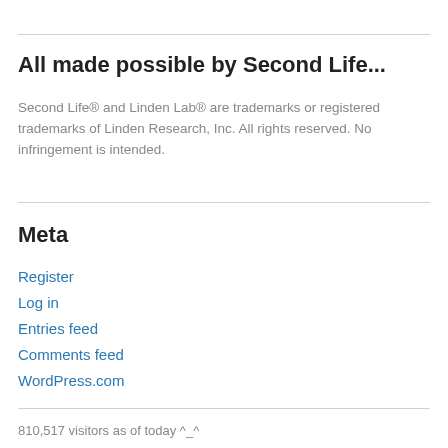All made possible by Second Life...
Second Life® and Linden Lab® are trademarks or registered trademarks of Linden Research, Inc. All rights reserved. No infringement is intended.
Meta
Register
Log in
Entries feed
Comments feed
WordPress.com
810,517 visitors as of today ^_^